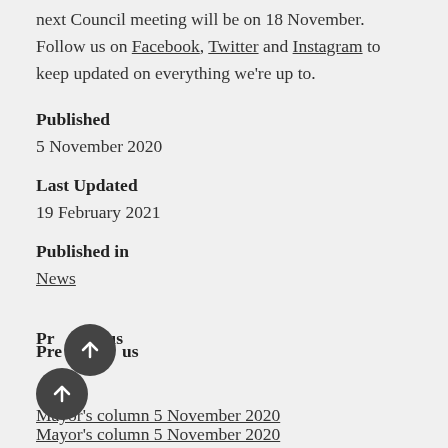next Council meeting will be on 18 November. Follow us on Facebook, Twitter and Instagram to keep updated on everything we're up to.
Published
5 November 2020
Last Updated
19 February 2021
Published in
News
Previous
Mayor's column 5 November 2020